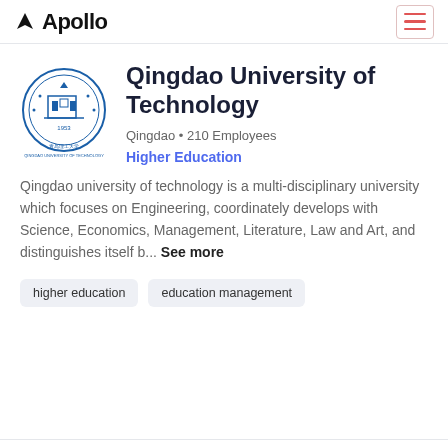Apollo
[Figure (logo): Qingdao University of Technology circular seal/logo with Chinese text and university emblem in blue]
Qingdao University of Technology
Qingdao • 210 Employees
Higher Education
Qingdao university of technology is a multi-disciplinary university which focuses on Engineering, coordinately develops with Science, Economics, Management, Literature, Law and Art, and distinguishes itself b... See more
higher education
education management